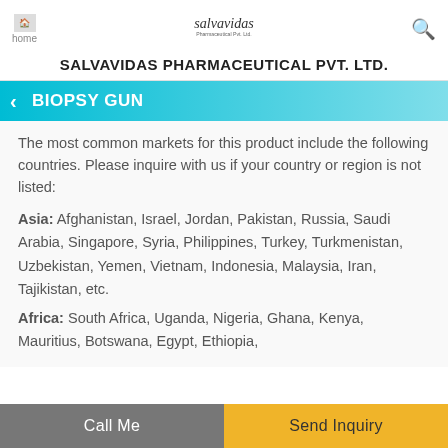SALVAVIDAS PHARMACEUTICAL PVT. LTD.
BIOPSY GUN
The most common markets for this product include the following countries. Please inquire with us if your country or region is not listed:
Asia: Afghanistan, Israel, Jordan, Pakistan, Russia, Saudi Arabia, Singapore, Syria, Philippines, Turkey, Turkmenistan, Uzbekistan, Yemen, Vietnam, Indonesia, Malaysia, Iran, Tajikistan, etc.
Africa: South Africa, Uganda, Nigeria, Ghana, Kenya, Mauritius, Botswana, Egypt, Ethiopia,
Call Me   Send Inquiry